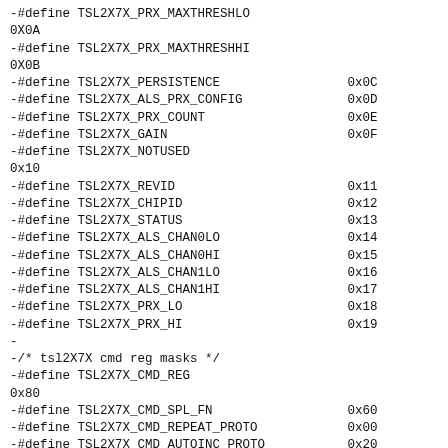-#define TSL2X7X_PRX_MAXTHRESHLO
0X0A
-#define TSL2X7X_PRX_MAXTHRESHHI
0X0B
-#define TSL2X7X_PERSISTENCE                 0x0C
-#define TSL2X7X_ALS_PRX_CONFIG              0x0D
-#define TSL2X7X_PRX_COUNT                   0x0E
-#define TSL2X7X_GAIN                        0x0F
-#define TSL2X7X_NOTUSED
0x10
-#define TSL2X7X_REVID                       0x11
-#define TSL2X7X_CHIPID                      0x12
-#define TSL2X7X_STATUS                      0x13
-#define TSL2X7X_ALS_CHAN0LO                 0x14
-#define TSL2X7X_ALS_CHAN0HI                 0x15
-#define TSL2X7X_ALS_CHAN1LO                 0x16
-#define TSL2X7X_ALS_CHAN1HI                 0x17
-#define TSL2X7X_PRX_LO                      0x18
-#define TSL2X7X_PRX_HI                      0x19
-
-/* tsl2X7X cmd reg masks */
-#define TSL2X7X_CMD_REG
0x80
-#define TSL2X7X_CMD_SPL_FN                  0x60
-#define TSL2X7X_CMD_REPEAT_PROTO            0x00
-#define TSL2X7X_CMD_AUTOINC_PROTO           0x20
-
-#define TSL2X7X_CMD_PROX_INT_CLR            0X05
-#define TSL2X7X_CMD_ALS_INT_CLR
0x06
-#define TSL2X7X_CMD_PROXALS_INT_CLR         0X07